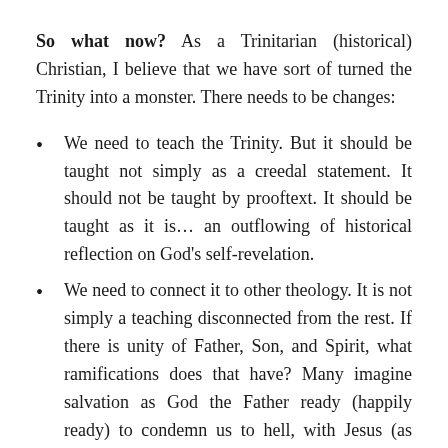So what now? As a Trinitarian (historical) Christian, I believe that we have sort of turned the Trinity into a monster. There needs to be changes:
We need to teach the Trinity. But it should be taught not simply as a creedal statement. It should not be taught by prooftext. It should be taught as it is… an outflowing of historical reflection on God's self-revelation.
We need to connect it to other theology. It is not simply a teaching disconnected from the rest. If there is unity of Father, Son, and Spirit, what ramifications does that have? Many imagine salvation as God the Father ready (happily ready) to condemn us to hell, with Jesus (as Son) jumping in and telling Him He can't because we